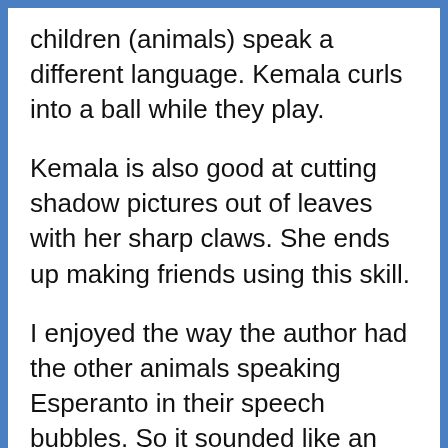children (animals) speak a different language. Kemala curls into a ball while they play.
Kemala is also good at cutting shadow pictures out of leaves with her sharp claws. She ends up making friends using this skill.
I enjoyed the way the author had the other animals speaking Esperanto in their speech bubbles. So it sounded like an authentic language, but every child who reads the book will understand Kemala finding the words strange.
The book focuses on a friendship it...